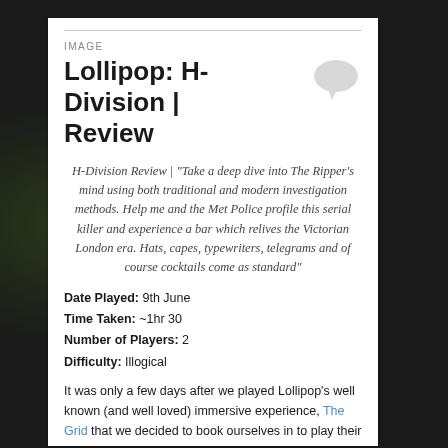IMAGE
Lollipop: H-Division | Review
H-Division Review | “Take a deep dive into The Ripper’s mind using both traditional and modern investigation methods. Help me and the Met Police profile this serial killer and experience a bar which relives the Victorian London era. Hats, capes, typewriters, telegrams and of course cocktails come as standard”
Date Played: 9th June
Time Taken: ~1hr 30
Number of Players: 2
Difficulty: Illogical
It was only a few days after we played Lollipop’s well known (and well loved) immersive experience, The Grid that we decided to book ourselves in to play their brand new Victorian themed immersive experience. Where The